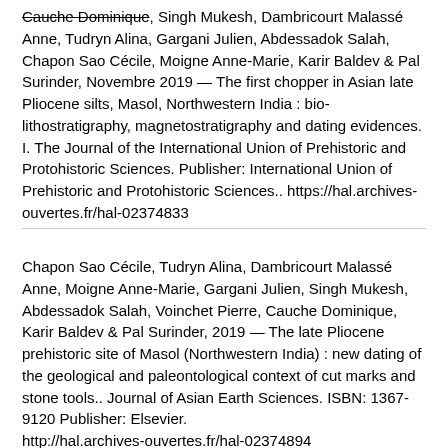Cauche Dominique, Singh Mukesh, Dambricourt Malassé Anne, Tudryn Alina, Gargani Julien, Abdessadok Salah, Chapon Sao Cécile, Moigne Anne-Marie, Karir Baldev & Pal Surinder, Novembre 2019 — The first chopper in Asian late Pliocene silts, Masol, Northwestern India : bio-lithostratigraphy, magnetostratigraphy and dating evidences. I. The Journal of the International Union of Prehistoric and Protohistoric Sciences. Publisher: International Union of Prehistoric and Protohistoric Sciences.. https://hal.archives-ouvertes.fr/hal-02374833
Chapon Sao Cécile, Tudryn Alina, Dambricourt Malassé Anne, Moigne Anne-Marie, Gargani Julien, Singh Mukesh, Abdessadok Salah, Voinchet Pierre, Cauche Dominique, Karir Baldev & Pal Surinder, 2019 — The late Pliocene prehistoric site of Masol (Northwestern India) : new dating of the geological and paleontological context of cut marks and stone tools.. Journal of Asian Earth Sciences. ISBN: 1367-9120 Publisher: Elsevier. http://hal.archives-ouvertes.fr/hal-02374894